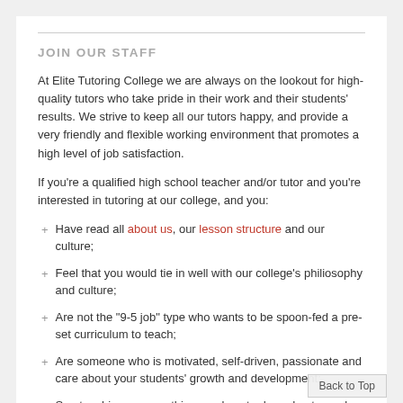JOIN OUR STAFF
At Elite Tutoring College we are always on the lookout for high-quality tutors who take pride in their work and their students' results. We strive to keep all our tutors happy, and provide a very friendly and flexible working environment that promotes a high level of job satisfaction.
If you're a qualified high school teacher and/or tutor and you're interested in tutoring at our college, and you:
Have read all about us, our lesson structure and our culture;
Feel that you would tie in well with our college's philiosophy and culture;
Are not the "9-5 job" type who wants to be spoon-fed a pre-set curriculum to teach;
Are someone who is motivated, self-driven, passionate and care about your students' growth and development;
See teaching as something you love to do and not merely a job;